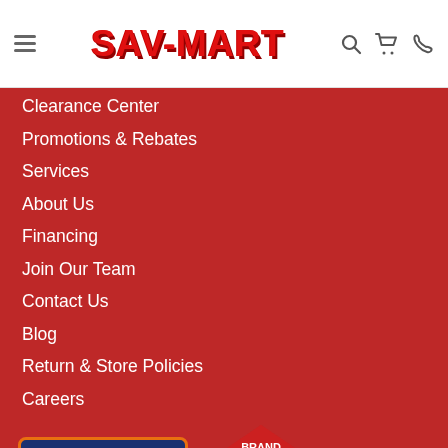SAV-MART navigation header with menu icon, logo, search, cart, and phone icons
Clearance Center
Promotions & Rebates
Services
About Us
Financing
Join Our Team
Contact Us
Blog
Return & Store Policies
Careers
[Figure (logo): We Buy Big, So You Save Big - Pacific Furniture Dealers badge with dark blue background and orange border]
[Figure (logo): Brand Source - SAV-MART 2014 Dealer of the Year badge with red house/pentagon shape]